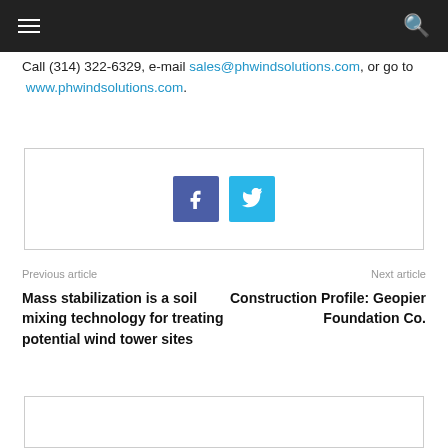Navigation header bar with hamburger menu and search icon
Call (314) 322-6329, e-mail sales@phwindsolutions.com, or go to www.phwindsolutions.com.
[Figure (other): Social sharing buttons box with Facebook (blue square with f) and Twitter (cyan square with bird icon)]
Previous article
Mass stabilization is a soil mixing technology for treating potential wind tower sites
Next article
Construction Profile: Geopier Foundation Co.
[Figure (other): Empty white box at bottom of page]